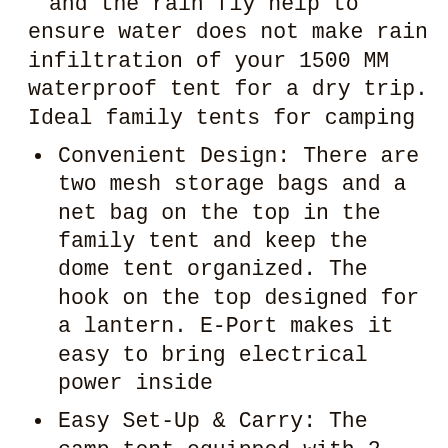and the rain fly help to ensure water does not make rain infiltration of your 1500 MM waterproof tent for a dry trip. Ideal family tents for camping
Convenient Design: There are two mesh storage bags and a net bag on the top in the family tent and keep the dome tent organized. The hook on the top designed for a lantern. E-Port makes it easy to bring electrical power inside
Easy Set-Up & Carry: The camp tent equipped with 2 ropes and 7 stakes for safe and stable. It only takes 2-3 people 5 minutes to set up. The carry bag weighs only 8.05lbs, and a large tent can be store in the car without taking up much space
Lightweight & Portable: When you finish your trip, you can simply place components back into the zippered carry